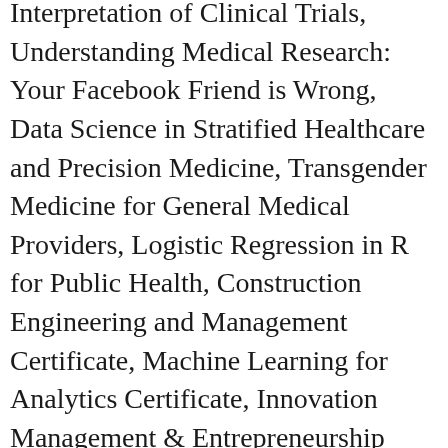Interpretation of Clinical Trials, Understanding Medical Research: Your Facebook Friend is Wrong, Data Science in Stratified Healthcare and Precision Medicine, Transgender Medicine for General Medical Providers, Logistic Regression in R for Public Health, Construction Engineering and Management Certificate, Machine Learning for Analytics Certificate, Innovation Management & Entrepreneurship Certificate, Sustainabaility and Development Certificate, Spatial Data Analysis and Visualization Certificate, Master's of Innovation & Entrepreneurship. Clinical Statistics for Non-Statisticians. Our modular degree learning experience gives you the ability to study online anytime and earn credit as you complete your course assignments. The course is free to enroll and take. This course is designed to be an introduction of basic